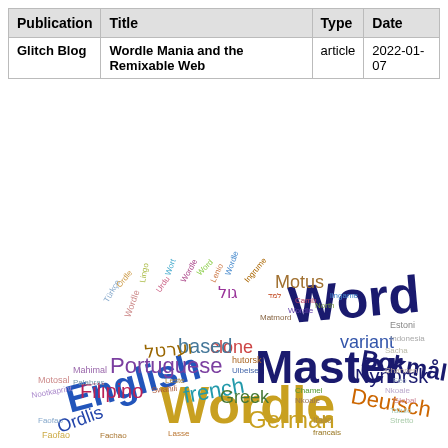| Publication | Title | Type | Date |
| --- | --- | --- | --- |
| Glitch Blog | Wordle Mania and the Remixable Web | article | 2022-01-07 |
[Figure (infographic): Word cloud containing terms related to Wordle and its variants in multiple languages: Word, Master, Wordle, English, German, Filipino, Portuguese, French, Greek, Bokmål, Nynorsk, Deutsch, variant, clone, based, Motus, וערטל, גול, Ordlis, and many smaller terms in various colors and sizes.]